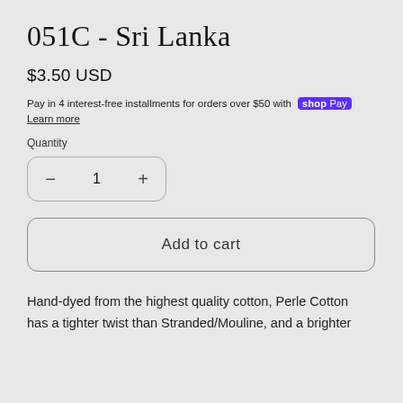051C - Sri Lanka
$3.50 USD
Pay in 4 interest-free installments for orders over $50 with shop Pay Learn more
Quantity
- 1 +
Add to cart
Hand-dyed from the highest quality cotton, Perle Cotton has a tighter twist than Stranded/Mouline, and a brighter